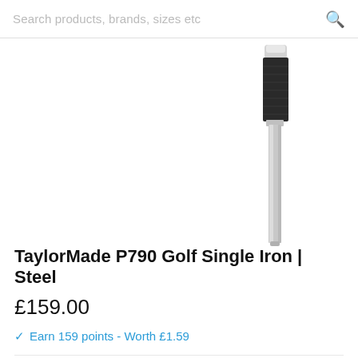Search products, brands, sizes etc
[Figure (photo): Golf club iron shaft and grip close-up, black and silver, shown vertically on white background]
TaylorMade P790 Golf Single Iron | Steel
£159.00
✔ Earn 159 points - Worth £1.59
Iron
Shaft
Flex